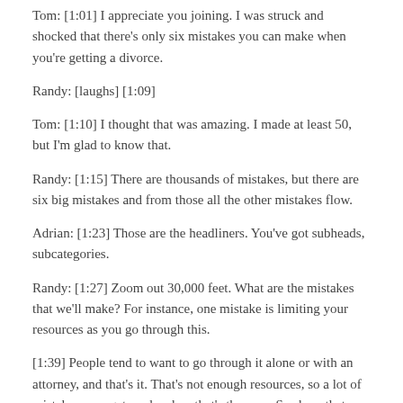Tom: [1:01] I appreciate you joining. I was struck and shocked that there's only six mistakes you can make when you're getting a divorce.
Randy: [laughs] [1:09]
Tom: [1:10] I thought that was amazing. I made at least 50, but I'm glad to know that.
Randy: [1:15] There are thousands of mistakes, but there are six big mistakes and from those all the other mistakes flow.
Adrian: [1:23] Those are the headliners. You've got subheads, subcategories.
Randy: [1:27] Zoom out 30,000 feet. What are the mistakes that we'll make? For instance, one mistake is limiting your resources as you go through this.
[1:39] People tend to want to go through it alone or with an attorney, and that's it. That's not enough resources, so a lot of mistakes may get made when that's the case. See how that flows?
Adrian: [1:52] Entering in the divorce coach, or a therapist, or